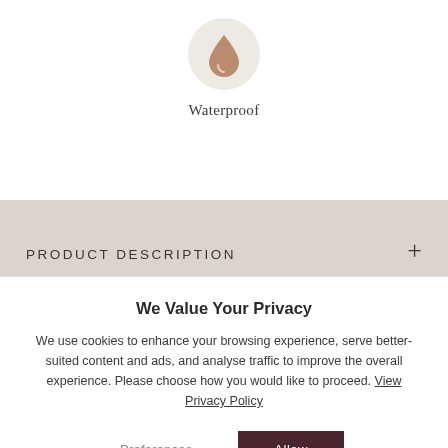[Figure (illustration): A waterproof icon: a water drop shape in brownish color inside a light beige circular background]
Waterproof
PRODUCT DESCRIPTION
We Value Your Privacy
We use cookies to enhance your browsing experience, serve better-suited content and ads, and analyse traffic to improve the overall experience. Please choose how you would like to proceed. View Privacy Policy
Preferences
Allow